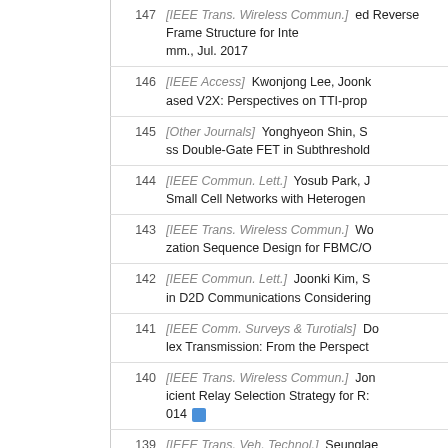147 [IEEE Trans. Wireless Commun.] ed Reverse Frame Structure for Inte mm., Jul. 2017
146 [IEEE Access] Kwonjong Lee, Joonk ased V2X: Perspectives on TTI-prop
145 [Other Journals] Yonghyeon Shin, S ss Double-Gate FET in Subthreshold
144 [IEEE Commun. Lett.] Yosub Park, J Small Cell Networks with Heterogen
143 [IEEE Trans. Wireless Commun.] Wo zation Sequence Design for FBMC/O
142 [IEEE Commun. Lett.] Joonki Kim, S in D2D Communications Considering
141 [IEEE Comm. Surveys & Turotials] Do lex Transmission: From the Perspect
140 [IEEE Trans. Wireless Commun.] Jon icient Relay Selection Strategy for R: 014
139 [IEEE Trans. Veh. Technol.] Seunglae duplex Systems in a Multi-spectrum
138 [IEEE Trans. Wireless Commun.] Sum g Cognitive Radio Networks," IEEE T